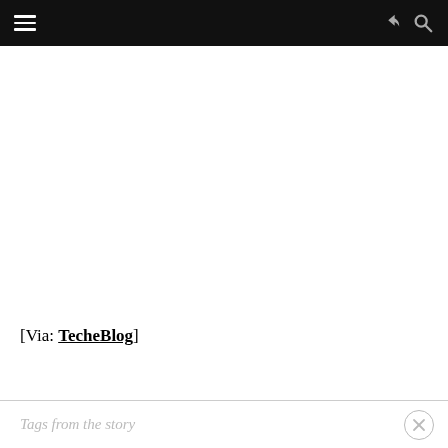[Via: TecheBlog]
Tags from the story